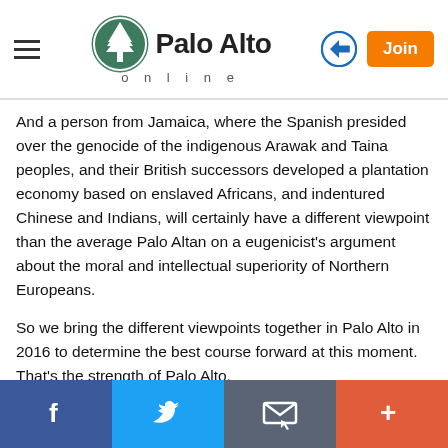Palo Alto online
And a person from Jamaica, where the Spanish presided over the genocide of the indigenous Arawak and Taina peoples, and their British successors developed a plantation economy based on enslaved Africans, and indentured Chinese and Indians, will certainly have a different viewpoint than the average Palo Altan on a eugenicist's argument about the moral and intellectual superiority of Northern Europeans.
So we bring the different viewpoints together in Palo Alto in 2016 to determine the best course forward at this moment. That's the strength of Palo Alto.
Report Objectionable Comment | Email Moderator
[Figure (other): Social sharing bar with Facebook, Twitter, Email, and More (+) buttons]